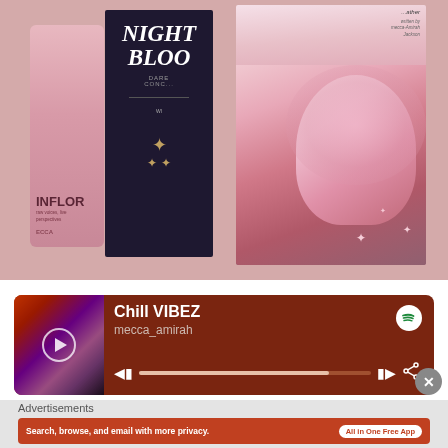[Figure (photo): Photo of book covers including 'Night Blood' (dark cover) and another book with illustrated cover of a woman with pink hair, alongside a pink 'Inflor' branded item. Books by Mecca-Amirah Jackson. Background is dusty rose/mauve colored.]
[Figure (screenshot): Spotify music player widget showing 'Chill VIBEZ' playlist by mecca_amirah, with dark red/rust background, album art on left, play button, track progress bar, skip and share controls, and Spotify logo. A close (X) button appears at bottom right.]
Advertisements
[Figure (screenshot): DuckDuckGo advertisement banner with rust/terracotta background. Text reads 'Search, browse, and email with more privacy.' with 'All in One Free App' button. Shows smartphone with DuckDuckGo logo on right side.]